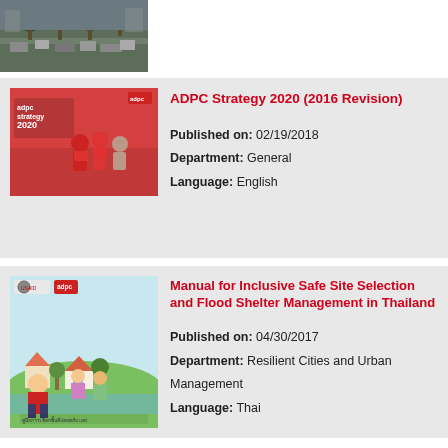[Figure (photo): Aerial photo of a busy road intersection with vehicles and palm trees]
[Figure (photo): ADPC Strategy 2020 book cover showing workers in red uniforms working together]
ADPC Strategy 2020 (2016 Revision)
Published on: 02/19/2018
Department: General
Language: English
[Figure (photo): Manual for Inclusive Safe Site Selection and Flood Shelter Management in Thailand cover with cartoon characters and Thai text]
Manual for Inclusive Safe Site Selection and Flood Shelter Management in Thailand
Published on: 04/30/2017
Department: Resilient Cities and Urban Management
Language: Thai